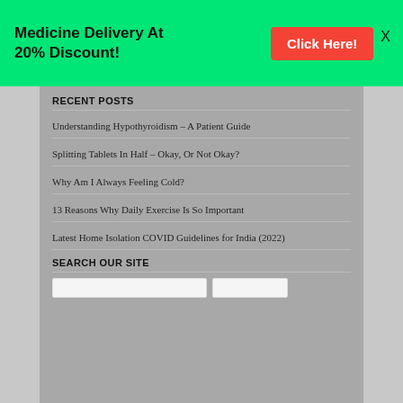Medicine Delivery At 20% Discount!
RECENT POSTS
Understanding Hypothyroidism – A Patient Guide
Splitting Tablets In Half – Okay, Or Not Okay?
Why Am I Always Feeling Cold?
13 Reasons Why Daily Exercise Is So Important
Latest Home Isolation COVID Guidelines for India (2022)
SEARCH OUR SITE